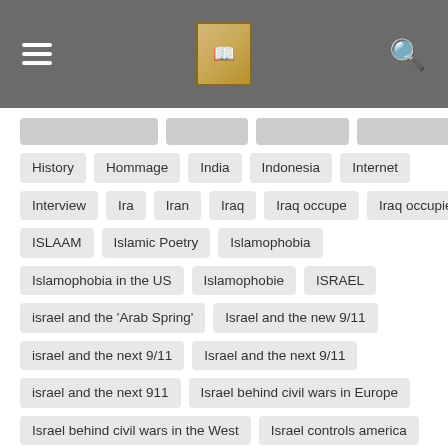Navigation header with hamburger menu, logo, and search icon
History
Hommage
India
Indonesia
Internet
Interview
Ira
Iran
Iraq
Iraq occupe
Iraq occupied
ISLAAM
Islamic Poetry
Islamophobia
Islamophobia in the US
Islamophobie
ISRAEL
israel and the 'Arab Spring'
Israel and the new 9/11
israel and the next 9/11
Israel and the next 9/11
israel and the next 911
Israel behind civil wars in Europe
Israel behind civil wars in the West
Israel controls america
Israel Crusade against Muslims
Israel crusades against Islaam
Israel did 7/7
ISRAEL DID 9/11
Israel et la guerre civile au Moyen Orient
Israel et la guerre civile en Europe
Israel false flag terrorism
israel finance l'islamophobia